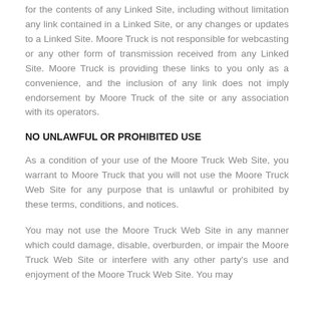for the contents of any Linked Site, including without limitation any link contained in a Linked Site, or any changes or updates to a Linked Site. Moore Truck is not responsible for webcasting or any other form of transmission received from any Linked Site. Moore Truck is providing these links to you only as a convenience, and the inclusion of any link does not imply endorsement by Moore Truck of the site or any association with its operators.
NO UNLAWFUL OR PROHIBITED USE
As a condition of your use of the Moore Truck Web Site, you warrant to Moore Truck that you will not use the Moore Truck Web Site for any purpose that is unlawful or prohibited by these terms, conditions, and notices.
You may not use the Moore Truck Web Site in any manner which could damage, disable, overburden, or impair the Moore Truck Web Site or interfere with any other party's use and enjoyment of the Moore Truck Web Site. You may